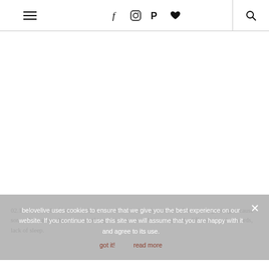☰  f  ○  ℗  ♥  🔍
[Figure (other): Large blank white content area, likely a hero image placeholder]
02.16. the month of brave // why we should all believe in ourselves from the beginning, because somewhere along the path everything turns into something completely different. in other words, lack of sleep.
belovelive uses cookies to ensure that we give you the best experience on our website. If you continue to use this site we will assume that you are happy with it and agree to its use.
got it!   read more